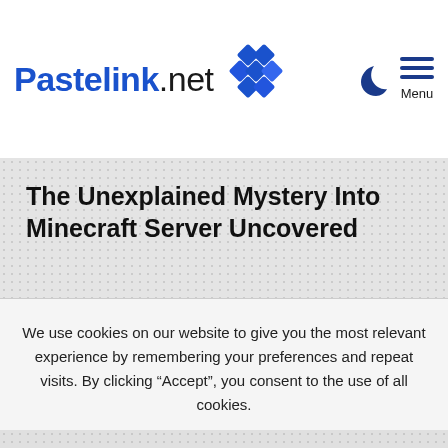Pastelink.net
The Unexplained Mystery Into Minecraft Server Uncovered
We use cookies on our website to give you the most relevant experience by remembering your preferences and repeat visits. By clicking “Accept”, you consent to the use of all cookies.
Accept